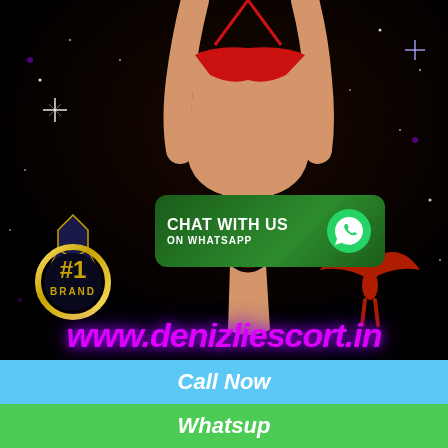[Figure (illustration): Illustrated female figure in red bikini against black starry background with #1 Brand badge, WhatsApp chat button, angel silhouette, website URL www.denizliescort.in, and two colored bars at bottom for Call Now and Whatsup]
www.denizliescort.in
Call Now
Whatsup